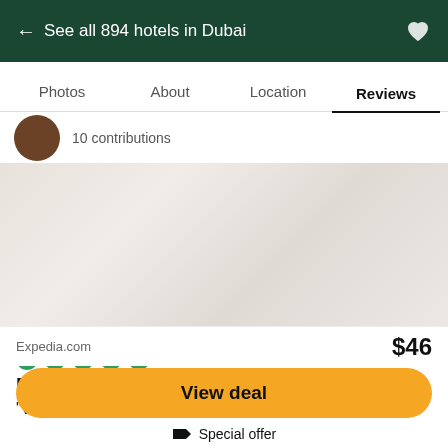← See all 894 hotels in Dubai
Photos  About  Location  Reviews
10 contributions
[Figure (photo): Blurred/faded background image of hotel interior]
Family staff
"What a great hotel to come to if u want to be made
Expedia.com  $46
View deal
Special offer